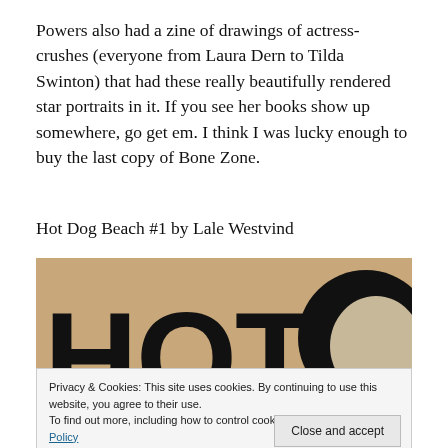Powers also had a zine of drawings of actress-crushes (everyone from Laura Dern to Tilda Swinton) that had these really beautifully rendered star portraits in it. If you see her books show up somewhere, go get em. I think I was lucky enough to buy the last copy of Bone Zone.
Hot Dog Beach #1 by Lale Westvind
[Figure (photo): Cover of Hot Dog Beach #1 showing large bold black letters spelling 'HOT' and partially visible 'BEACH' on a tan/kraft paper background, with a black circular shape (head silhouette) on the right.]
Privacy & Cookies: This site uses cookies. By continuing to use this website, you agree to their use.
To find out more, including how to control cookies, see here: Cookie Policy